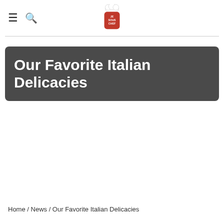≡ 🔍 [Sous Chef logo]
Our Favorite Italian Delicacies
Home / News / Our Favorite Italian Delicacies